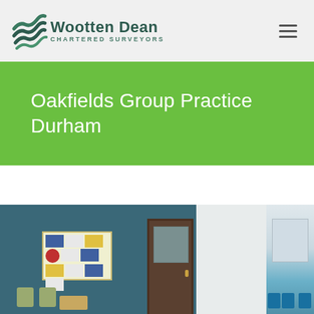Wootten Dean Chartered Surveyors
Oakfields Group Practice Durham
[Figure (photo): Interior photo of a medical practice waiting room with teal walls, a notice board, door, and chairs]